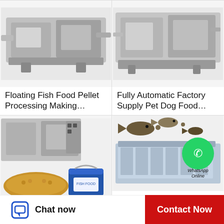[Figure (photo): Industrial floating fish food pellet processing machine, stainless steel, top portion visible]
Floating Fish Food Pellet Processing Making…
[Figure (photo): Fully automatic factory supply pet dog food processing machine, top portion visible]
Fully Automatic Factory Supply Pet Dog Food…
[Figure (photo): Fish feed machine with pile of brown pellets and blue bucket of fish food, industrial machine in background]
Fish Feed Machine Price Animal Feed Making…
[Figure (photo): Poultry farm pet food feed pellet floating fish making machine with fish illustrations and WhatsApp Online badge overlay]
Poultry Farm Pet Food Feed Pellet Floating Fish Maki…
Chat now
Contact Now